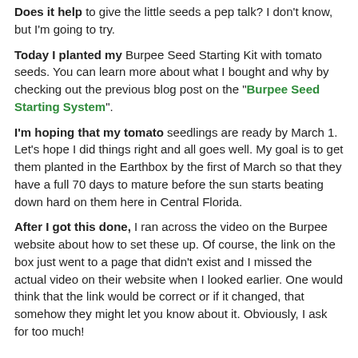Does it help to give the little seeds a pep talk?  I don't know, but I'm going to try.
Today I planted my Burpee Seed Starting Kit with tomato seeds.  You can learn more about what I bought and why by checking out the previous blog post on the "Burpee Seed Starting System".
I'm hoping that my tomato seedlings are ready by March 1.  Let's hope I did things right and all goes well.  My goal is to get them planted in the Earthbox by the first of March so that they have a full 70 days to mature before the sun starts beating down hard on them here in Central Florida.
After I got this done, I ran across the video on the Burpee website about how to set these up.  Of course, the link on the box just went to a page that didn't exist and I missed the actual video on their website when I looked earlier.  One would think that the link would be correct or if it changed, that somehow they might let you know about it.  Obviously, I ask for too much!